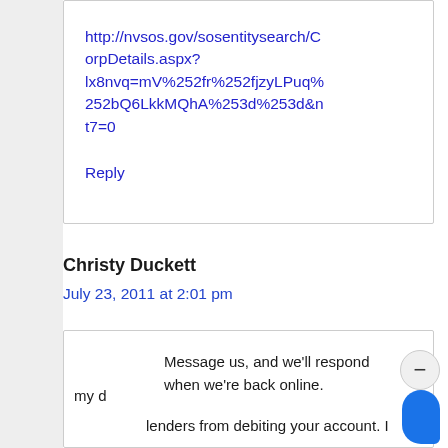http://nvsos.gov/sosentitysearch/CorpDetails.aspx?lx8nvq=mV%252fr%252fjzyLPuq%252bQ6LkkMQhA%253d%253d&nt7=0
Reply
Christy Duckett
July 23, 2011 at 2:01 pm
Message us, and we'll respond when we're back online.
my d
lenders from debiting your account. I